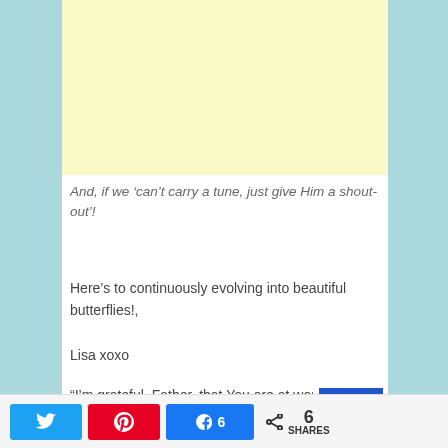[Figure (other): Light yellow advertisement placeholder block]
And, if we ‘can’t carry a tune, just give Him a shout-out’!
Here’s to continuously evolving into beautiful butterflies!,
Lisa xoxo
“I’m grateful, Father, that You are at work in
Twitter | Pinterest | Facebook 6 | Share 6 SHARES